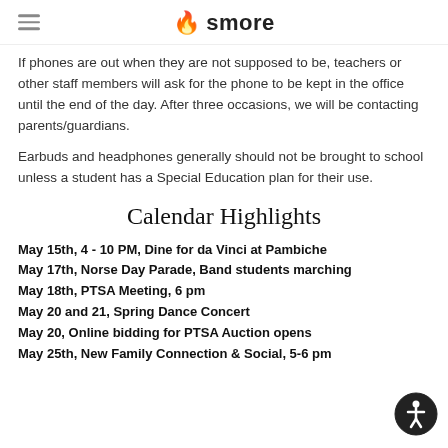smore
If phones are out when they are not supposed to be, teachers or other staff members will ask for the phone to be kept in the office until the end of the day. After three occasions, we will be contacting parents/guardians.
Earbuds and headphones generally should not be brought to school unless a student has a Special Education plan for their use.
Calendar Highlights
May 15th, 4 - 10 PM, Dine for da Vinci at Pambiche
May 17th, Norse Day Parade, Band students marching
May 18th, PTSA Meeting, 6 pm
May 20 and 21, Spring Dance Concert
May 20, Online bidding for PTSA Auction opens
May 25th, New Family Connection & Social, 5-6 pm